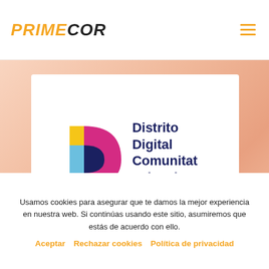PRIMECOR
[Figure (logo): Distrito Digital Comunitat Valenciana logo — a stylized D shape made of overlapping squares/circles in light blue, magenta/pink, dark navy, and yellow, beside bold navy text reading 'Distrito Digital Comunitat Valenciana']
Usamos cookies para asegurar que te damos la mejor experiencia en nuestra web. Si continúas usando este sitio, asumiremos que estás de acuerdo con ello.
Aceptar   Rechazar cookies   Política de privacidad